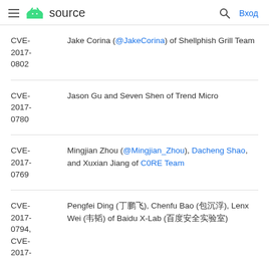≡ android source  🔍 Вход
| CVE | Researcher |
| --- | --- |
| CVE-2017-0802 | Jake Corina (@JakeCorina) of Shellphish Grill Team |
| CVE-2017-0780 | Jason Gu and Seven Shen of Trend Micro |
| CVE-2017-0769 | Mingjian Zhou (@Mingjian_Zhou), Dacheng Shao, and Xuxian Jiang of C0RE Team |
| CVE-2017-0794, CVE-2017- | Pengfei Ding (丁鹏飞), Chenfu Bao (包沉浮), Lenx Wei (韦韬) of Baidu X-Lab (百度安全实验室) |